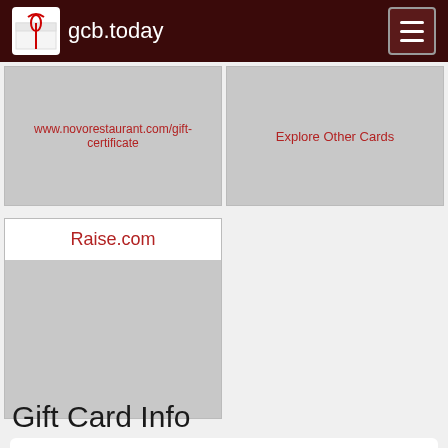gcb.today
[Figure (screenshot): Two card cells visible at top: left cell shows link 'www.novorestaurant.com/gift-certificate', right cell shows 'Explore Other Cards']
Raise.com
[Figure (other): Gray placeholder image area below Raise.com header]
Gift Card Info
Gift cards purchased GIFT CARDS — Novo Restaurant & Lounge at Robin's, Novo or Luna Red may now be used at any of these three locations.. There is a small convenience fee of $3 for all instant E-gift certificates purchases which allows up to offer this